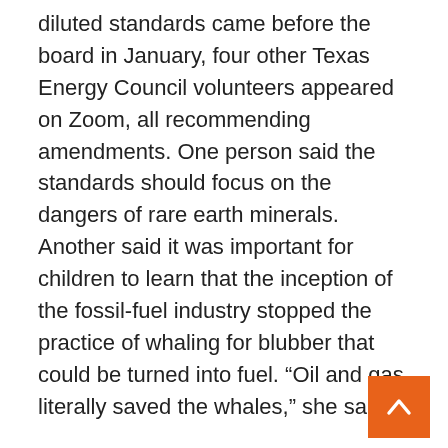diluted standards came before the board in January, four other Texas Energy Council volunteers appeared on Zoom, all recommending amendments. One person said the standards should focus on the dangers of rare earth minerals. Another said it was important for children to learn that the inception of the fossil-fuel industry stopped the practice of whaling for blubber that could be turned into fuel. “Oil and gas literally saved the whales,” she said.
The industry also had a new champion on the board: Will Hickman, who had just been elected in November 2020 for a district outside of Houston. Hickman’s experience in education included serving on parent groups at his kids’ schools, coaching community sports and teaching Sunday school. He’d held the same day job since 2004: senior legal counsel at Shell